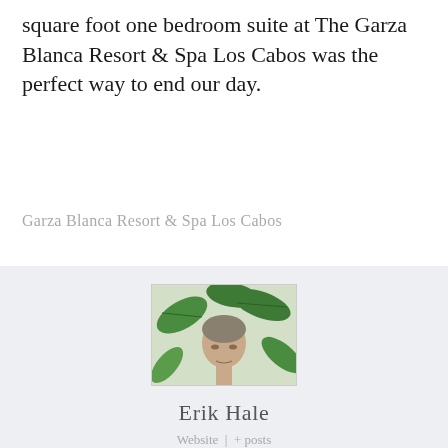square foot one bedroom suite at The Garza Blanca Resort & Spa Los Cabos was the perfect way to end our day.
Garza Blanca Resort & Spa Los Cabos
[Figure (photo): Portrait photo of Erik Hale, a man with salt-and-pepper hair wearing a light blue shirt, posed in front of a tropical leaf background]
Erik Hale
Website | + posts